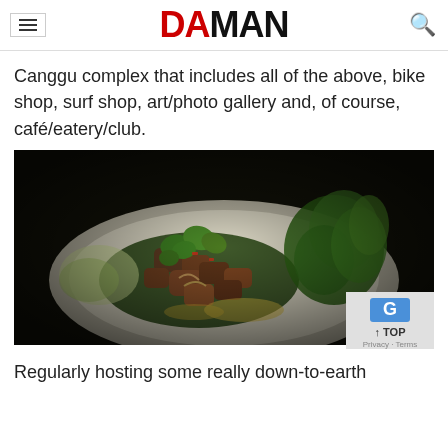DAMAN
Canggu complex that includes all of the above, bike shop, surf shop, art/photo gallery and, of course, café/eatery/club.
[Figure (photo): Close-up food photo of a dish with grilled or roasted meat pieces garnished with fresh herbs including mint and cilantro, green onions, and a colorful salad on a white plate with a dark background.]
Regularly hosting some really down-to-earth